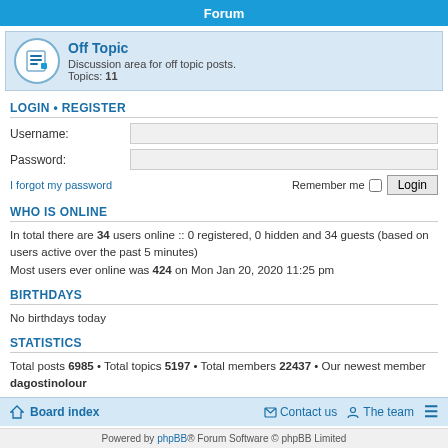Forum
Off Topic
Discussion area for off topic posts.
Topics: 11
LOGIN • REGISTER
Username:
Password:
I forgot my password   Remember me  [checkbox]  Login
WHO IS ONLINE
In total there are 34 users online :: 0 registered, 0 hidden and 34 guests (based on users active over the past 5 minutes)
Most users ever online was 424 on Mon Jan 20, 2020 11:25 pm
BIRTHDAYS
No birthdays today
STATISTICS
Total posts 6985 • Total topics 5197 • Total members 22437 • Our newest member dagostinolour
Board index   Contact us   The team   ≡
Powered by phpBB® Forum Software © phpBB Limited